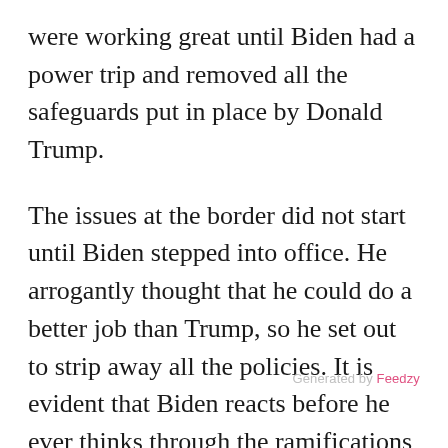were working great until Biden had a power trip and removed all the safeguards put in place by Donald Trump.
The issues at the border did not start until Biden stepped into office. He arrogantly thought that he could do a better job than Trump, so he set out to strip away all the policies. It is evident that Biden reacts before he ever thinks through the ramifications of his choices.
The illegal aliens took this as a personal invite from him for them to start moving northward towards the border. But now
Generated by Feedzy